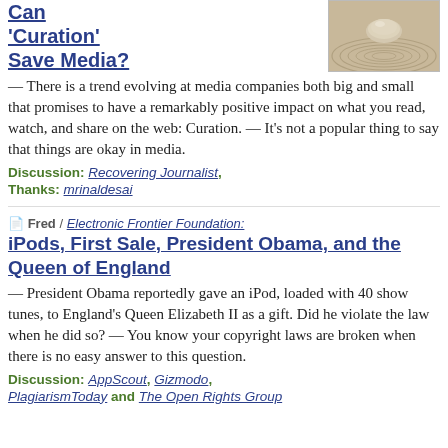Can 'Curation' Save Media?
[Figure (photo): A stone balanced on concentric sand ripples, Zen garden style]
— There is a trend evolving at media companies both big and small that promises to have a remarkably positive impact on what you read, watch, and share on the web: Curation.  —  It's not a popular thing to say that things are okay in media.
Discussion:  Recovering Journalist,
Thanks: mrinaldesai
Fred / Electronic Frontier Foundation:
iPods, First Sale, President Obama, and the Queen of England
— President Obama reportedly gave an iPod, loaded with 40 show tunes, to England's Queen Elizabeth II as a gift.  Did he violate the law when he did so?  —  You know your copyright laws are broken when there is no easy answer to this question.
Discussion:  AppScout, Gizmodo, PlagiarismToday and The Open Rights Group